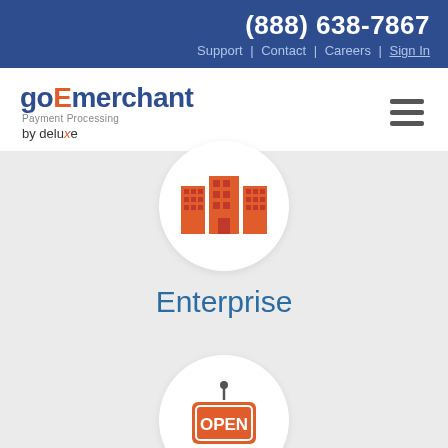(888) 638-7867 Support | Contact | Careers | Sign In
[Figure (logo): goEmerchant Payment Processing by deluxe logo]
[Figure (illustration): Enterprise icon: three building silhouettes in orange/red inside a white circle]
Enterprise
[Figure (illustration): Open sign icon in orange/red inside a white circle]